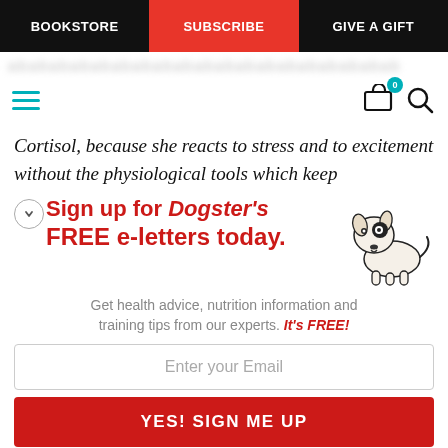BOOKSTORE | SUBSCRIBE | GIVE A GIFT
Cortisol, because she reacts to stress and to excitement without the physiological tools which keep
[Figure (infographic): Sign up for Dogster's FREE e-letters today. Promotional box with cartoon dog illustration, email input field, and red sign-me-up button. Text: Get health advice, nutrition information and training tips from our experts. It's FREE!]